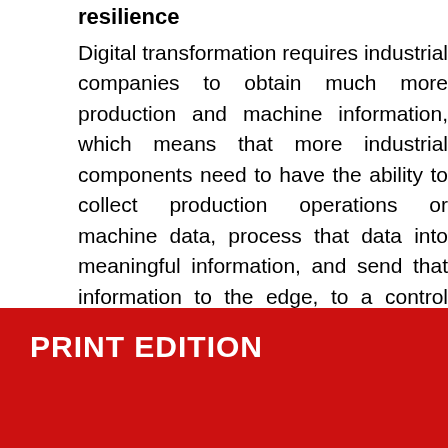resilience
Digital transformation requires industrial companies to obtain much more production and machine information, which means that more industrial components need to have the ability to collect production operations or machine data, process that data into meaningful information, and send that information to the edge, to a control system, to a cloud, or some combination of those options. This has led to the development of smart solutions that have these built-in capabilities to help production lines and machines to be more productive and information
PRINT EDITION